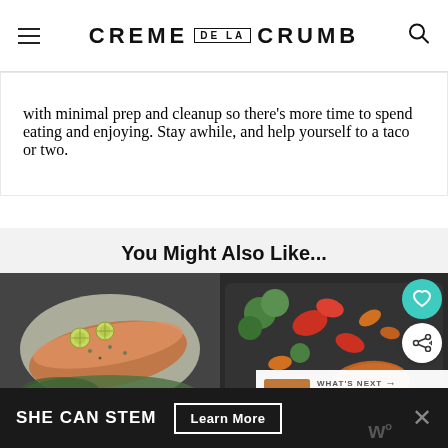CREME DE LA CRUMB
with minimal prep and cleanup so there’s more time to spend eating and enjoying. Stay awhile, and help yourself to a taco or two.
You Might Also Like...
[Figure (photo): Two food photos side by side: left shows a baked salmon fillet with lime slices on foil on a sheet pan; right shows a sheet pan with roasted vegetables including broccoli, red peppers, and carrots. Social sharing buttons (heart and share) overlay the right image. A 'What's Next' banner shows a thumbnail and text 'Best, Easy Healthy Bak...']
SHE CAN STEM — Learn More (advertisement banner)